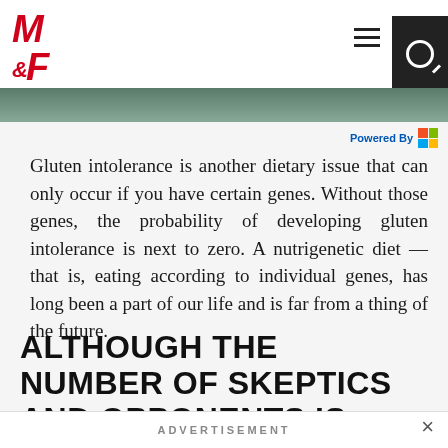M&F — Muscle & Fitness header with logo, hamburger menu, search icon
Gluten intolerance is another dietary issue that can only occur if you have certain genes. Without those genes, the probability of developing gluten intolerance is next to zero. A nutrigenetic diet — that is, eating according to individual genes, has long been a part of our life and is far from a thing of the future.
ALTHOUGH THE NUMBER OF SKEPTICS AND OPPONENTS IS DECREASING. THERE ARE STILL
ADVERTISEMENT